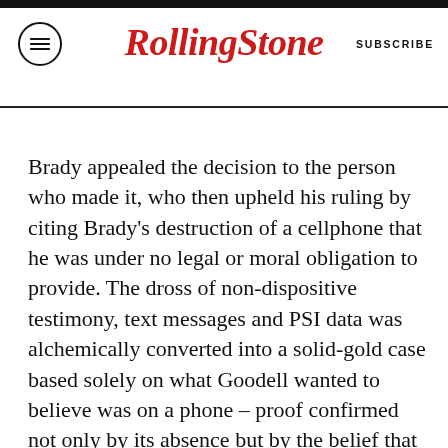RollingStone  SUBSCRIBE
Brady appealed the decision to the person who made it, who then upheld his ruling by citing Brady's destruction of a cellphone that he was under no legal or moral obligation to provide. The dross of non-dispositive testimony, text messages and PSI data was alchemically converted into a solid-gold case based solely on what Goodell wanted to believe was on a phone – proof confirmed not only by its absence but by the belief that a resistant defendant must be guilty. Noncompliance with the NFL constitutes evidence of acts committed against it, and noncompliance is now defined as insufficient supplication to